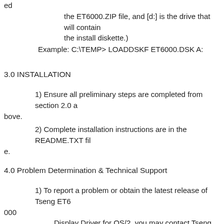ed the ET6000.ZIP file, and [d:] is the drive that will contain the install diskette.)
Example: C:\TEMP> LOADDSKF ET6000.DSK A:
3.0 INSTALLATION
1) Ensure all preliminary steps are completed from section 2.0 above.
2) Complete installation instructions are in the README.TXT file.
4.0 Problem Determination & Technical Support
1) To report a problem or obtain the latest release of Tseng ET6000 Display Driver for OS/2, you may contact Tseng Labs by the following